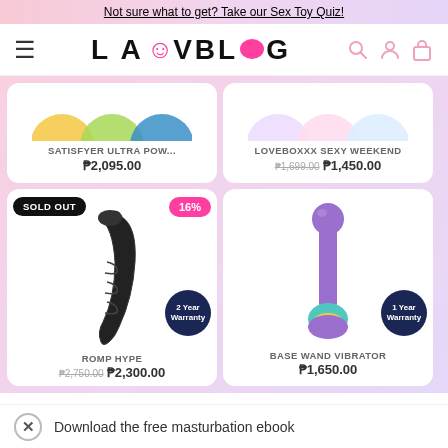Not sure what to get? Take our Sex Toy Quiz!
[Figure (logo): LAUVBLOG logo with heart and speech bubble icons, hamburger menu, search, account, and cart icons]
[Figure (photo): Satisfyer Ultra Pow... product image with partial circles visible at top]
SATISFYER ULTRA POW...
₱2,095.00
[Figure (photo): Loveboxxx Sexy Weekend product image with partial circles at top]
LOVEBOXXX SEXY WEEKEND
₱1,699.00 ₱1,450.00
[Figure (photo): Romp Hype black dildo vibrator product image with SOLD OUT badge, 16% discount badge, and 2 Year Warranty circle badge]
ROMP HYPE
₱2,750.00 ₱2,300.00
[Figure (photo): Base Wand Vibrator purple wand massager product image with 1 Year Warranty circle badge]
BASE WAND VIBRATOR
₱1,650.00
Download the free masturbation ebook